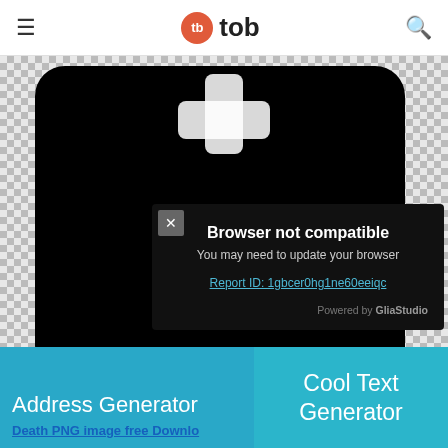tb tob
[Figure (screenshot): Screenshot of a browser plugin/extension icon (black shape resembling a puzzle piece or lock) on a checkerboard transparent background, with a dark modal overlay showing 'Browser not compatible' error message, a close button (X), report ID link, and 'Powered by GliaStudio' text.]
Address Generator
Death PNG image free Download
Cool Text Generator